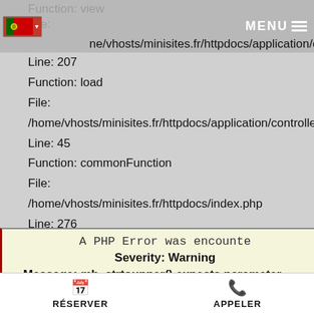Function: view
File: /home/vhosts/minisites.fr/httpdocs/application/controllers/...
Line: 207
Function: load
File:
/home/vhosts/minisites.fr/httpdocs/application/controllers/...
Line: 45
Function: commonFunction
File:
/home/vhosts/minisites.fr/httpdocs/index.php
Line: 276
Function: require_once
A PHP Error was encountered
Severity: Warning
Message: mb_strtoupper() expects parameter...
RÉSERVER   APPELER